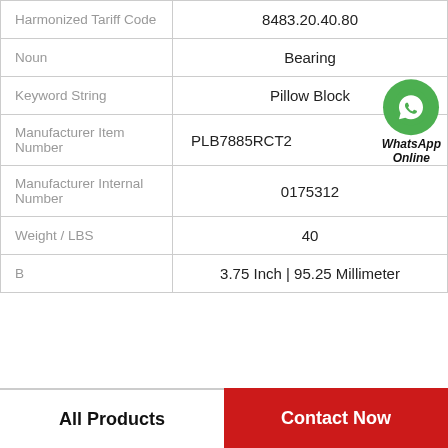| Field | Value |
| --- | --- |
| Harmonized Tariff Code | 8483.20.40.80 |
| Noun | Bearing |
| Keyword String | Pillow Block |
| Manufacturer Item Number | PLB7885RCT2 |
| Manufacturer Internal Number | 0175312 |
| Weight / LBS | 40 |
| B | 3.75 Inch | 95.25 Millimeter |
All Products
Contact Now